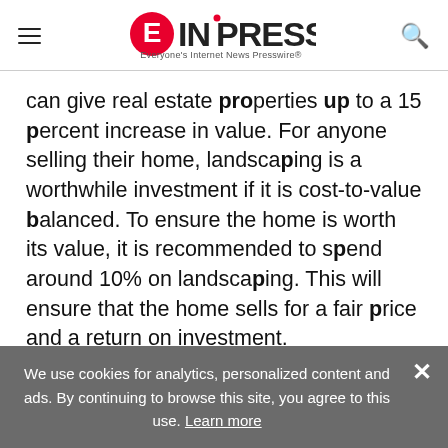EIN PRESSWIRE — Everyone's Internet News Presswire
can give real estate properties up to a 15 percent increase in value. For anyone selling their home, landscaping is a worthwhile investment if it is cost-to-value balanced. To ensure the home is worth its value, it is recommended to spend around 10% on landscaping. This will ensure that the home sells for a fair price and a return on investment.
Rick Vermillion and his team of landscape professionals, have the right equipment alongside
We use cookies for analytics, personalized content and ads. By continuing to browse this site, you agree to this use. Learn more